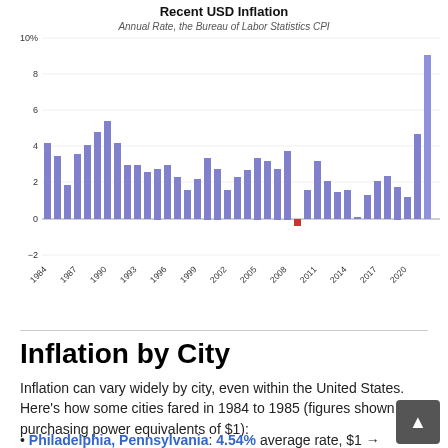[Figure (bar-chart): Recent USD Inflation]
Inflation by City
Inflation can vary widely by city, even within the United States. Here's how some cities fared in 1984 to 1985 (figures shown are purchasing power equivalents of $1):
Philadelphia, Pennsylvania: 4.54% average rate, $1 →